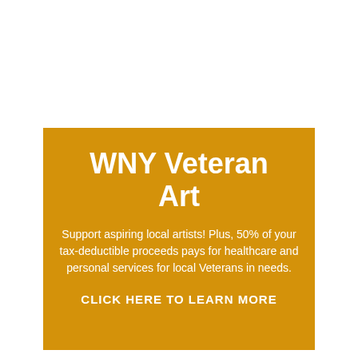WNY Veteran Art
Support aspiring local artists! Plus, 50% of your tax-deductible proceeds pays for healthcare and personal services for local Veterans in needs.
CLICK HERE TO LEARN MORE